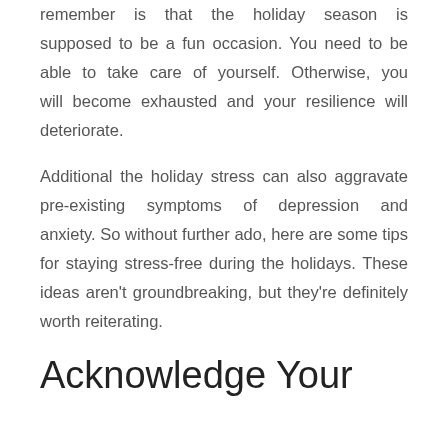remember is that the holiday season is supposed to be a fun occasion. You need to be able to take care of yourself. Otherwise, you will become exhausted and your resilience will deteriorate.
Additional the holiday stress can also aggravate pre-existing symptoms of depression and anxiety. So without further ado, here are some tips for staying stress-free during the holidays. These ideas aren't groundbreaking, but they're definitely worth reiterating.
Acknowledge Your